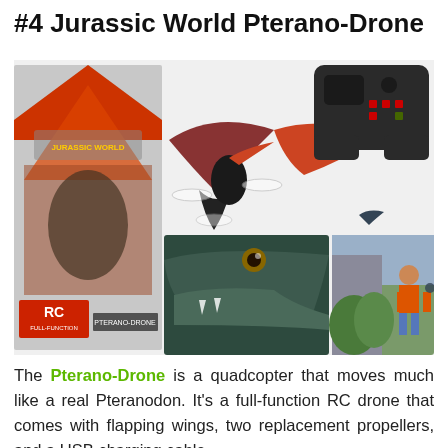#4 Jurassic World Pterano-Drone
[Figure (photo): Product collage showing Jurassic World Pterano-Drone toy box, a pterodactyl-shaped quadcopter drone in flight, a remote controller, a close-up of the dinosaur head, and a child playing with the drone outdoors.]
The Pterano-Drone is a quadcopter that moves much like a real Pteranodon. It’s a full-function RC drone that comes with flapping wings, two replacement propellers, and a USB charging cable.